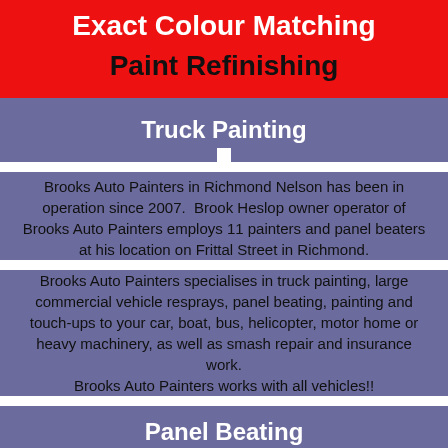Exact Colour Matching
Paint Refinishing
Truck Painting
Brooks Auto Painters in Richmond Nelson has been in operation since 2007.  Brook Heslop owner operator of Brooks Auto Painters employs 11 painters and panel beaters at his location on Frittal Street in Richmond.
Brooks Auto Painters specialises in truck painting, large commercial vehicle resprays, panel beating, painting and touch-ups to your car, boat, bus, helicopter, motor home or heavy machinery, as well as smash repair and insurance work.
Brooks Auto Painters works with all vehicles!!
Panel Beating